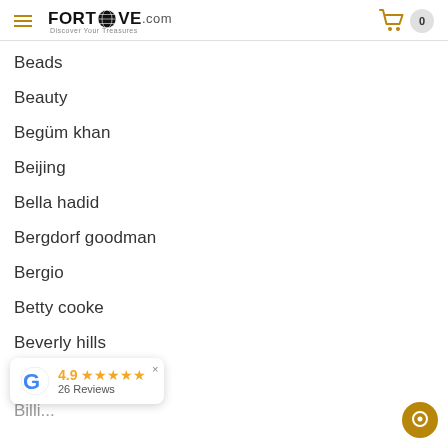FORTROVE.com — Discover Your Treasures, cart: 0
Beads
Beauty
Begüm khan
Beijing
Bella hadid
Bergdorf goodman
Bergio
Betty cooke
Beverly hills
Beyonce
[Figure (other): Google review overlay showing 4.9 rating with 5 stars and 26 Reviews]
[Figure (other): Chat bubble icon bottom right corner]